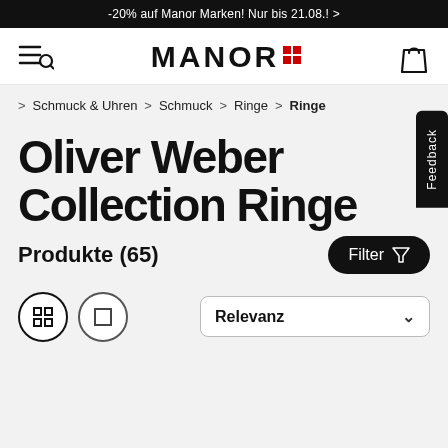-20% auf Manor Marken! Nur bis 21.08.! >
[Figure (logo): Manor logo with red grid dots, hamburger menu icon on left, shopping bag icon on right]
> Schmuck & Uhren > Schmuck > Ringe > Ringe
Oliver Weber Collection Ringe
Produkte (65)
Filter
Feedback
Relevanz